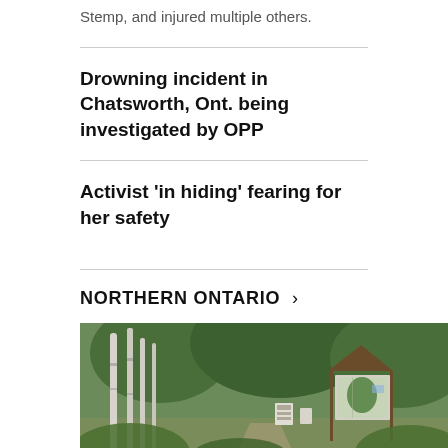Stemp, and injured multiple others.
Drowning incident in Chatsworth, Ont. being investigated by OPP
Activist 'in hiding' fearing for her safety
NORTHERN ONTARIO >
[Figure (photo): Outdoor park entrance with birch trees on the left, a wooden sign structure with a map board on the right, dense green foliage in the background, overcast sky.]